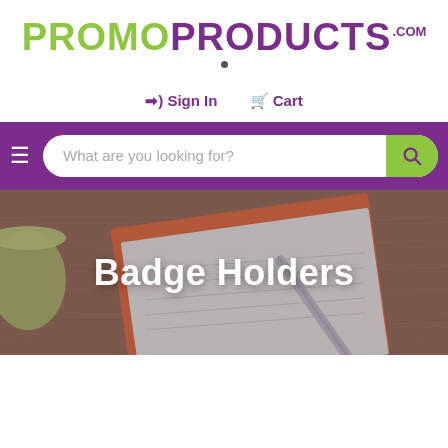[Figure (logo): PromoProducts.com logo in green and purple uppercase letters]
→) Sign In   🛒 Cart
[Figure (screenshot): Purple navigation bar with hamburger menu and search bar reading 'What are you looking for?' with green search button]
[Figure (photo): Hero banner showing a wood table with notebook and pen, overlaid with white bold text 'Badge Holders']